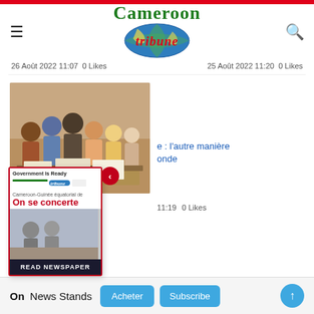Cameroon tribune
26 Août 2022 11:07   0 Likes   25 Août 2022 11:20   0 Likes
[Figure (photo): Group of people looking at documents/newspapers on a table at an event]
e : l'autre manière
onde
11:19   0 Likes
[Figure (photo): Cameroon Tribune newspaper popup showing 'Government Is Ready' headline and 'On se concerte' subheadline with READ NEWSPAPER button]
On News Stands   Acheter   Subscribe